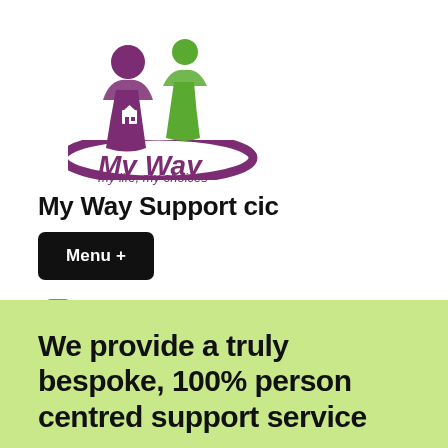[Figure (logo): My Way Support CIC logo featuring two stylized human figures with raised arms in purple and green, with a house icon and a swoosh/arc underneath. Text reads 'My Way' in purple italic and 'my life, my choices' in smaller purple italic text below.]
My Way Support cic
Menu +
[Figure (other): Social media icons: Instagram icon (circle with camera outline) and Twitter bird icon, both in black.]
Our support
We provide a truly bespoke, 100% person centred support service